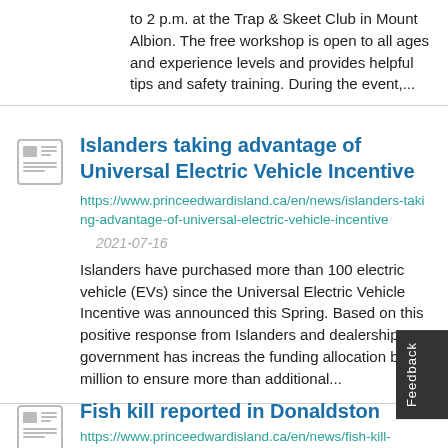to 2 p.m. at the Trap & Skeet Club in Mount Albion. The free workshop is open to all ages and experience levels and provides helpful tips and safety training. During the event,...
Islanders taking advantage of Universal Electric Vehicle Incentive
https://www.princeedwardisland.ca/en/news/islanders-taking-advantage-of-universal-electric-vehicle-incentive
2021-07-16
Islanders have purchased more than 100 electric vehicles (EVs) since the Universal Electric Vehicle Incentive was announced this Spring. Based on this positive response from Islanders and dealerships, government has increased the funding allocation by $1 million to ensure more than 100 additional...
Fish kill reported in Donaldston
https://www.princeedwardisland.ca/en/news/fish-kill-